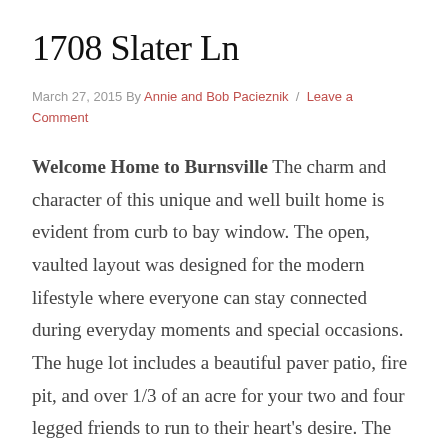1708 Slater Ln
March 27, 2015 By Annie and Bob Pacieznik / Leave a Comment
Welcome Home to Burnsville The charm and character of this unique and well built home is evident from curb to bay window. The open, vaulted layout was designed for the modern lifestyle where everyone can stay connected during everyday moments and special occasions. The huge lot includes a beautiful paver patio, fire pit, and over 1/3 of an acre for your two and four legged friends to run to their heart's desire. The large garage is complemented by paved side parking and a doggy door to backyard kennel area. If you're young at heart